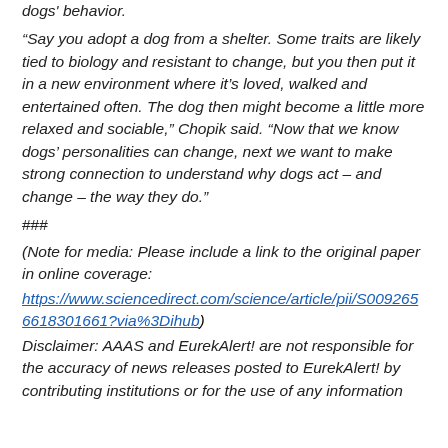dogs' behavior.
“Say you adopt a dog from a shelter. Some traits are likely tied to biology and resistant to change, but you then put it in a new environment where it’s loved, walked and entertained often. The dog then might become a little more relaxed and sociable,” Chopik said. “Now that we know dogs’ personalities can change, next we want to make strong connection to understand why dogs act – and change – the way they do.”
###
(Note for media: Please include a link to the original paper in online coverage: https://www.sciencedirect.com/science/article/pii/S0092656618301661?via%3Dihub)
Disclaimer: AAAS and EurekAlert! are not responsible for the accuracy of news releases posted to EurekAlert! by contributing institutions or for the use of any information